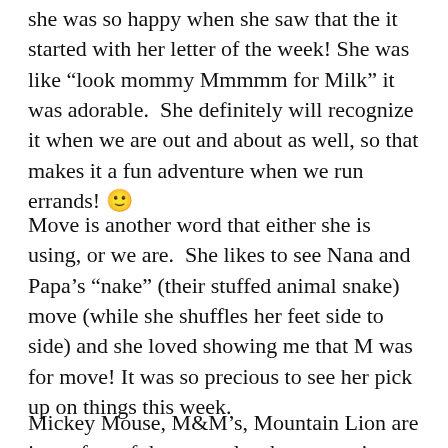she was so happy when she saw that the it started with her letter of the week! She was like “look mommy Mmmmm for Milk” it was adorable.  She definitely will recognize it when we are out and about as well, so that makes it a fun adventure when we run errands! 🙂
Move is another word that either she is using, or we are.  She likes to see Nana and Papa’s “nake” (their stuffed animal snake) move (while she shuffles her feet side to side) and she loved showing me that M was for move! It was so precious to see her pick up on things this week.
Mickey Mouse, M&M’s, Mountain Lion are just a few of the examples that were given with the